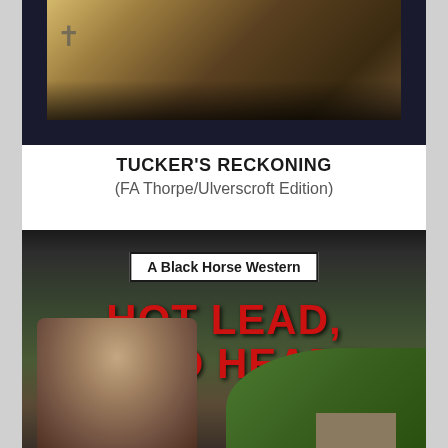[Figure (photo): Top portion of a book cover showing a dark/black background with a partial image of what appears to be a nature scene with warm golden tones, partially cropped at the top of the page.]
TUCKER'S RECKONING
(FA Thorpe/Ulverscroft Edition)
[Figure (photo): Book cover for 'Hot Lead, Cold Heart' - A Black Horse Western. Features a white banner with 'A Black Horse Western' text, large red bold title text 'HOT LEAD, COLD HEART', and a man's face in the lower left with trees and a building in the background.]